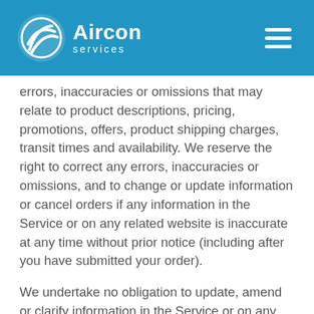Aircon Services
errors, inaccuracies or omissions that may relate to product descriptions, pricing, promotions, offers, product shipping charges, transit times and availability. We reserve the right to correct any errors, inaccuracies or omissions, and to change or update information or cancel orders if any information in the Service or on any related website is inaccurate at any time without prior notice (including after you have submitted your order).
We undertake no obligation to update, amend or clarify information in the Service or on any related website, including without limitation, pricing information, except as required by law. No specified update or refresh date applied in the